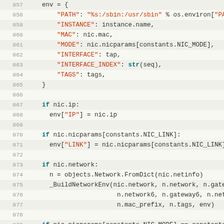[Figure (screenshot): Source code listing showing Python code lines 857-882, defining an env dictionary and conditional blocks for NIC networking configuration.]